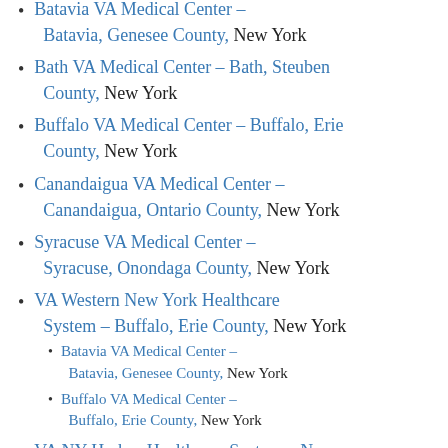Batavia VA Medical Center – Batavia, Genesee County, New York
Bath VA Medical Center – Bath, Steuben County, New York
Buffalo VA Medical Center – Buffalo, Erie County, New York
Canandaigua VA Medical Center – Canandaigua, Ontario County, New York
Syracuse VA Medical Center – Syracuse, Onondaga County, New York
VA Western New York Healthcare System – Buffalo, Erie County, New York
Batavia VA Medical Center – Batavia, Genesee County, New York
Buffalo VA Medical Center – Buffalo, Erie County, New York
VA NY Harbor Healthcare System – New York, New York